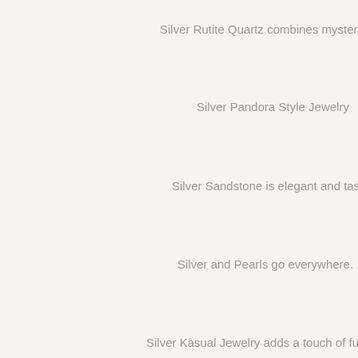Silver Rutite Quartz combines mystery and f
Silver Pandora Style Jewelry
Silver Sandstone is elegant and tastef
Silver and Pearls go everywhere.
Silver Kasual Jewelry adds a touch of fun to eve